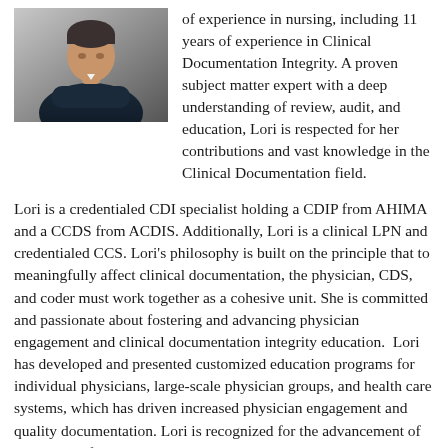[Figure (photo): Portrait photo of a person with arms crossed, wearing a dark jacket, against a light background.]
of experience in nursing, including 11 years of experience in Clinical Documentation Integrity. A proven subject matter expert with a deep understanding of review, audit, and education, Lori is respected for her contributions and vast knowledge in the Clinical Documentation field.
Lori is a credentialed CDI specialist holding a CDIP from AHIMA and a CCDS from ACDIS. Additionally, Lori is a clinical LPN and credentialed CCS. Lori's philosophy is built on the principle that to meaningfully affect clinical documentation, the physician, CDS, and coder must work together as a cohesive unit. She is committed and passionate about fostering and advancing physician engagement and clinical documentation integrity education.  Lori has developed and presented customized education programs for individual physicians, large-scale physician groups, and health care systems, which has driven increased physician engagement and quality documentation. Lori is recognized for the advancement of the CDI profession by her work on many innovative targeted projects, including early